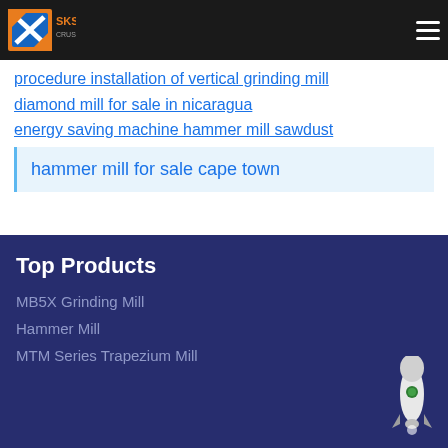SKS Crusher Expert
procedure installation of vertical grinding mill
diamond mill for sale in nicaragua
energy saving machine hammer mill sawdust
hammer mill for sale cape town
Top Products
MB5X Grinding Mill
Hammer Mill
MTM Series Trapezium Mill